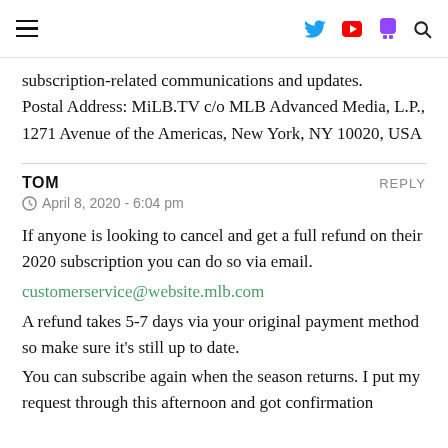≡ [twitter] [youtube] [twitch] [search]
subscription-related communications and updates.
Postal Address: MiLB.TV c/o MLB Advanced Media, L.P., 1271 Avenue of the Americas, New York, NY 10020, USA
TOM
April 8, 2020 - 6:04 pm
If anyone is looking to cancel and get a full refund on their 2020 subscription you can do so via email.
customerservice@website.mlb.com
A refund takes 5-7 days via your original payment method so make sure it's still up to date.
You can subscribe again when the season returns. I put my request through this afternoon and got confirmation